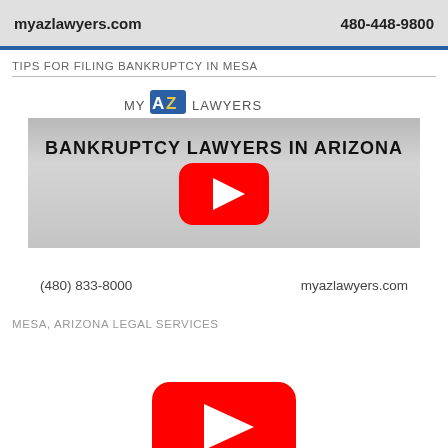myazlawyers.com    480-448-9800
TIPS FOR FILING BANKRUPTCY IN MESA
[Figure (logo): MY AZ LAWYERS logo with stylized AZ letters]
[Figure (screenshot): YouTube video thumbnail for Bankruptcy Lawyers in Arizona with red play button]
(480) 833-8000    myazlawyers.com
MESA, ARIZONA LEGAL SERVICES
[Figure (screenshot): YouTube video play button (red) partially visible at bottom]